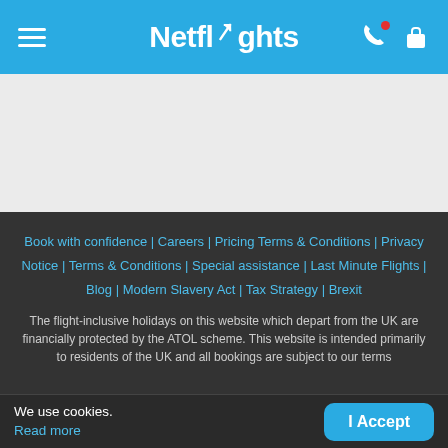Netflights
[Figure (screenshot): Light gray content area placeholder]
Book with confidence | Careers | Pricing Terms & Conditions | Privacy Notice | Terms & Conditions | Special assistance | Last Minute Flights | Blog | Modern Slavery Act | Tax Strategy | Brexit
The flight-inclusive holidays on this website which depart from the UK are financially protected by the ATOL scheme. This website is intended primarily to residents of the UK and all bookings are subject to our terms
We use cookies.
Read more
I Accept